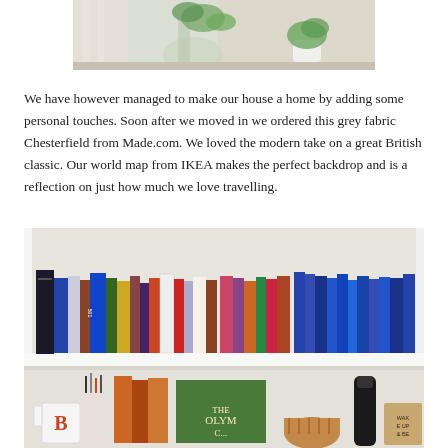[Figure (photo): Photo of plants in glass vases/pots on a windowsill with sheer curtains in background — bottom portion of image visible at top of page]
We have however managed to make our house a home by adding some personal touches. Soon after we moved in we ordered this grey fabric Chesterfield from Made.com. We loved the modern take on a great British classic. Our world map from IKEA makes the perfect backdrop and is a reflection on just how much we love travelling.
[Figure (photo): Photo of a white bookshelf with two visible shelves. Top shelf is packed with various colourful books standing upright. Bottom shelf has a mug with B letter, pencil/pen holder, orange books, a cocktail shaker, woven basket, and what appears to be 'THE OLYMP...' book title visible.]